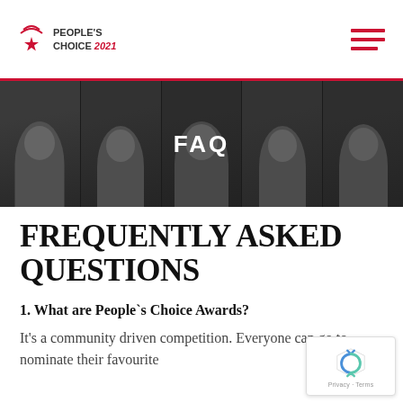People's Choice 2021 — navigation logo and menu
[Figure (photo): Banner with five people's faces in grayscale/dark overlay, with 'FAQ' text centered over the image]
FREQUENTLY ASKED QUESTIONS
1. What are People`s Choice Awards?
It's a community driven competition. Everyone can go to nominate their favourite